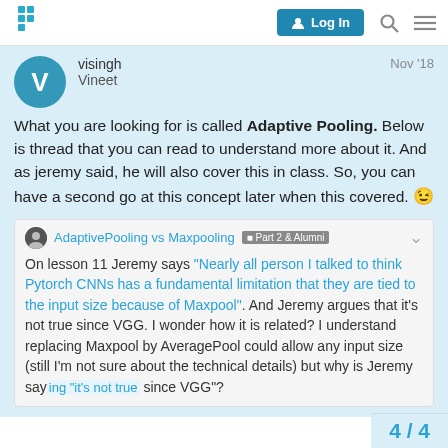V Login [button] [search] [menu]
visingh Vineet Nov '18
What you are looking for is called Adaptive Pooling. Below is thread that you can read to understand more about it. And as jeremy said, he will also cover this in class. So, you can have a second go at this concept later when this covered. 😉
AdaptivePooling vs Maxpooling Part 2 & Alumni
On lesson 11 Jeremy says "Nearly all person I talked to think Pytorch CNNs has a fundamental limitation that they are tied to the input size because of Maxpool". And Jeremy argues that it's not true since VGG. I wonder how it is related? I understand replacing Maxpool by AveragePool could allow any input size (still I'm not sure about the technical details) but why is Jeremy saying "it's not true since VGG"?
4 / 4